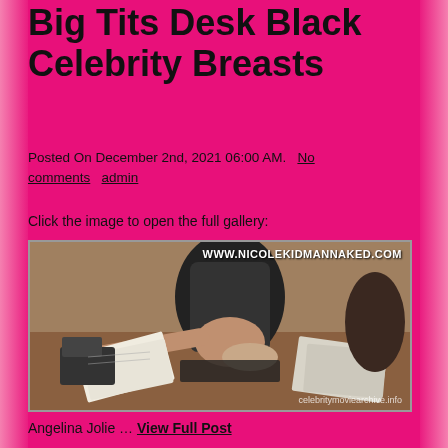Big Tits Desk Black Celebrity Breasts
Posted On December 2nd, 2021 06:00 AM.   No comments   admin
Click the image to open the full gallery:
[Figure (photo): A woman in black clothing seated at a desk with papers and keyboard, with watermark WWW.NICOLEKIDMANNAKED.COM and credit celebritymoviearchive.info]
Angelina Jolie … View Full Post